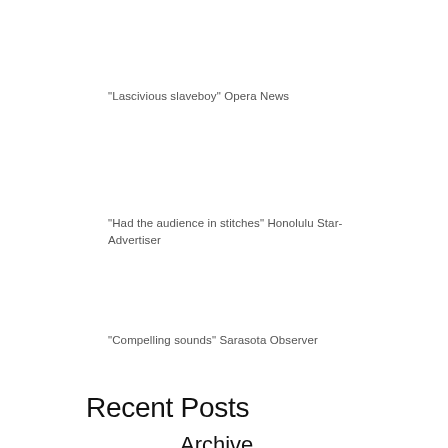"Lascivious slaveboy" Opera News
"Had the audience in stitches" Honolulu Star-Advertiser
"Compelling sounds" Sarasota Observer
Recent Posts
Archive